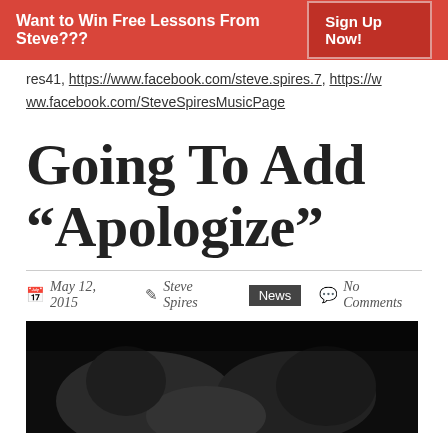Want to Win Free Lessons From Steve??? Sign Up Now!
res41, https://www.facebook.com/steve.spires.7, https://www.facebook.com/SteveSpiresMusicPage
Going To Add “Apologize”
May 12, 2015  Steve Spires  News  No Comments
[Figure (photo): Black and white photograph of musicians performing, dark low-key lighting]